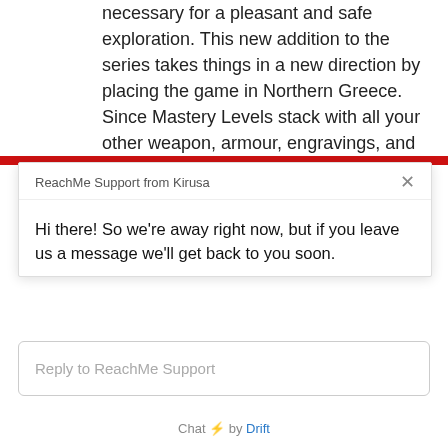necessary for a pleasant and safe exploration. This new addition to the series takes things in a new direction by placing the game in Northern Greece. Since Mastery Levels stack with all your other weapon, armour, engravings, and character stats, you're in for quite a treat when you finally open them up. It's a vicious cycle.
ReachMe Support from Kirusa
Hi there! So we're away right now, but if you leave us a message we'll get back to you soon.
Reply to ReachMe Support
Chat ⚡ by Drift